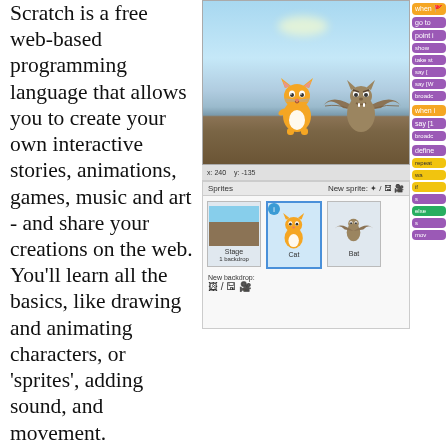Scratch is a free web-based programming language that allows you to create your own interactive stories, animations, games, music and art - and share your creations on the web. You'll learn all the basics, like drawing and animating characters, or 'sprites', adding sound, and movement.
A Beginner is anyone 8 - 9 yrs who has not yet
[Figure (screenshot): Screenshot of the Scratch programming interface showing a stage with a cat sprite and bat sprite near a waterfront backdrop, along with the sprites panel below showing Stage, Cat, and Bat thumbnails, and purple/orange coding blocks on the right side.]